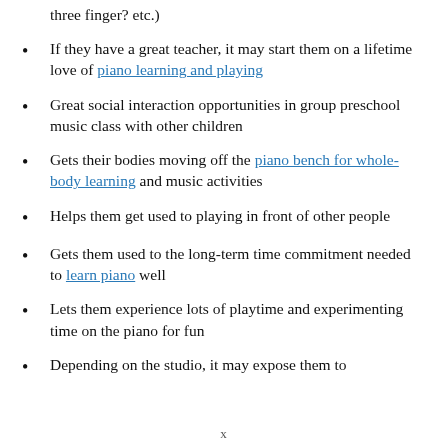three finger? etc.)
If they have a great teacher, it may start them on a lifetime love of piano learning and playing
Great social interaction opportunities in group preschool music class with other children
Gets their bodies moving off the piano bench for whole-body learning and music activities
Helps them get used to playing in front of other people
Gets them used to the long-term time commitment needed to learn piano well
Lets them experience lots of playtime and experimenting time on the piano for fun
Depending on the studio, it may expose them to
x